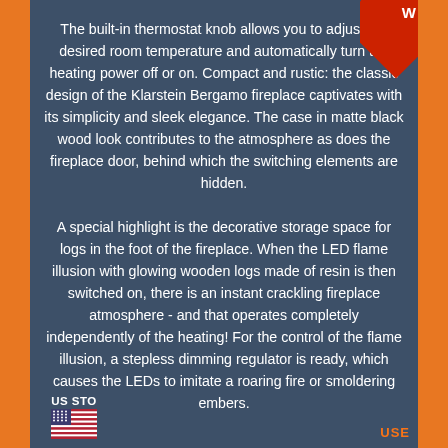The built-in thermostat knob allows you to adjust the desired room temperature and automatically turn the heating power off or on. Compact and rustic: the classic design of the Klarstein Bergamo fireplace captivates with its simplicity and sleek elegance. The case in matte black wood look contributes to the atmosphere as does the fireplace door, behind which the switching elements are hidden.

A special highlight is the decorative storage space for logs in the foot of the fireplace. When the LED flame illusion with glowing wooden logs made of resin is then switched on, there is an instant crackling fireplace atmosphere - and that operates completely independently of the heating! For the control of the flame illusion, a stepless dimming regulator is ready, which causes the LEDs to imitate a roaring fire or smoldering embers.